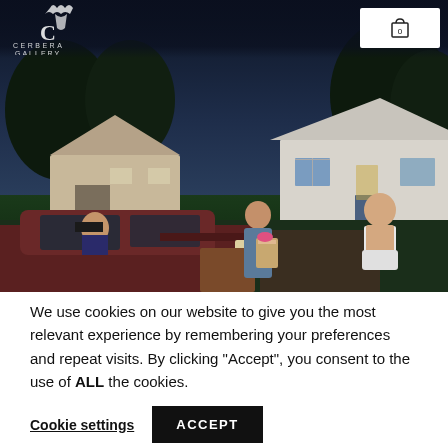Cerbera Gallery
[Figure (photo): Nighttime outdoor scene showing a woman in a blue coat carrying grocery bags next to a car, with a shirtless young man bowing nearby, in a suburban neighbourhood with houses in the background. A young girl is visible in the car window.]
We use cookies on our website to give you the most relevant experience by remembering your preferences and repeat visits. By clicking “Accept”, you consent to the use of ALL the cookies.
Cookie settings
ACCEPT